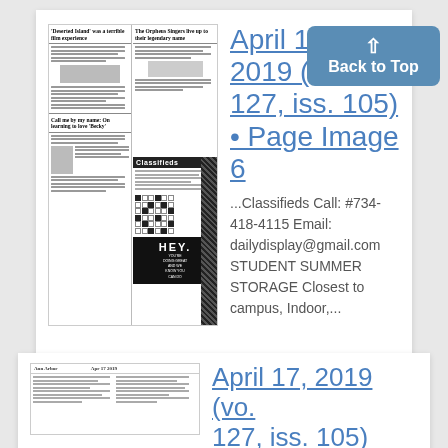[Figure (screenshot): Thumbnail of newspaper page showing headlines: 'Deserted Island was a terrible film experience', 'The Orpheus Singers live up to their legendary name', 'Call me by my name: On learning to love Becky', and a Classifieds section with crossword and HEY advertisement]
April 17, 2019 (vol. 127, iss. 105) • Page Image 6
...Classifieds Call: #734-418-4115 Email: dailydisplay@gmail.com STUDENT SUMMER STORAGE Closest to campus, Indoor,...
[Figure (screenshot): Thumbnail of second newspaper page, partially visible]
April 17, 2019 (vol. 127, iss. 105)